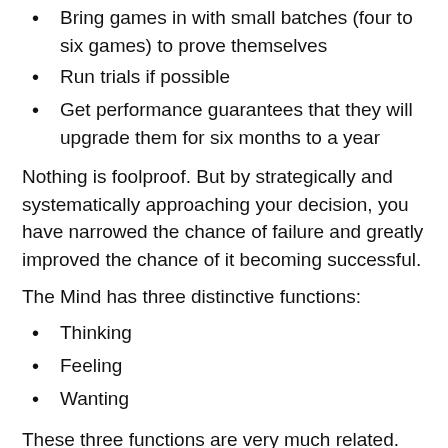Bring games in with small batches (four to six games) to prove themselves
Run trials if possible
Get performance guarantees that they will upgrade them for six months to a year
Nothing is foolproof. But by strategically and systematically approaching your decision, you have narrowed the chance of failure and greatly improved the chance of it becoming successful.
The Mind has three distinctive functions:
Thinking
Feeling
Wanting
These three functions are very much related. They tell us why things are the way they are, measuring